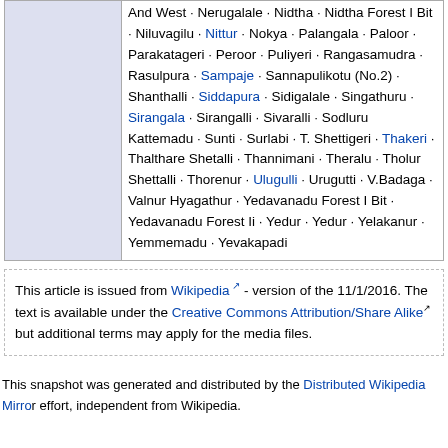|  | And West · Nerugalale · Nidtha · Nidtha Forest I Bit · Niluvagilu · Nittur · Nokya · Palangala · Paloor · Parakatageri · Peroor · Puliyeri · Rangasamudra · Rasulpura · Sampaje · Sannapulikotu (No.2) · Shanthalli · Siddapura · Sidigalale · Singathuru · Sirangala · Sirangalli · Sivaralli · Sodluru Kattemadu · Sunti · Surlabi · T. Shettigeri · Thakeri · Thalthare Shetalli · Thannimani · Theralu · Tholur Shettalli · Thorenur · Ulugulli · Urugutti · V.Badaga · Valnur Hyagathur · Yedavanadu Forest I Bit · Yedavanadu Forest Ii · Yedur · Yedur · Yelakanur · Yemmemadu · Yevakapadi |
This article is issued from Wikipedia - version of the 11/1/2016. The text is available under the Creative Commons Attribution/Share Alike but additional terms may apply for the media files.
This snapshot was generated and distributed by the Distributed Wikipedia Mirror effort, independent from Wikipedia.